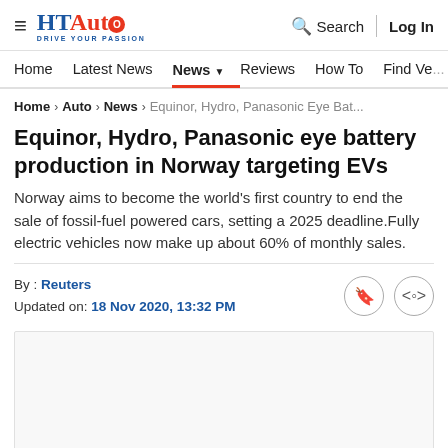HT Auto — Drive Your Passion | Search | Log In
Home | Latest News | News | Reviews | How To | Find Ve...
Home > Auto > News > Equinor, Hydro, Panasonic Eye Bat...
Equinor, Hydro, Panasonic eye battery production in Norway targeting EVs
Norway aims to become the world's first country to end the sale of fossil-fuel powered cars, setting a 2025 deadline.Fully electric vehicles now make up about 60% of monthly sales.
By : Reuters
Updated on: 18 Nov 2020, 13:32 PM
[Figure (photo): Article image placeholder (white/light grey box)]